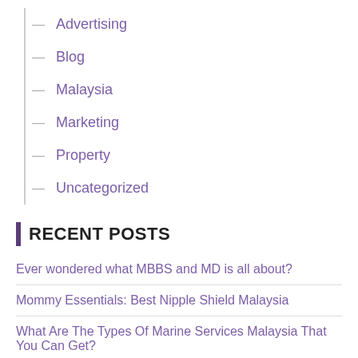Advertising
Blog
Malaysia
Marketing
Property
Uncategorized
RECENT POSTS
Ever wondered what MBBS and MD is all about?
Mommy Essentials: Best Nipple Shield Malaysia
What Are The Types Of Marine Services Malaysia That You Can Get?
Importance of car insurance